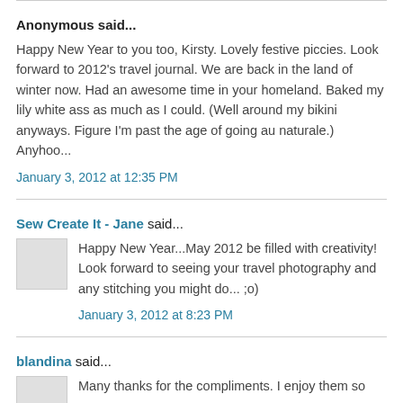Anonymous said...
Happy New Year to you too, Kirsty. Lovely festive piccies. Look forward to 2012's travel journal. We are back in the land of winter now. Had an awesome time in your homeland. Baked my lily white ass as much as I could. (Well around my bikini anyways. Figure I'm past the age of going au naturale.) Anyhoo...
January 3, 2012 at 12:35 PM
Sew Create It - Jane said...
Happy New Year...May 2012 be filled with creativity! Look forward to seeing your travel photography and any stitching you might do... ;o)
January 3, 2012 at 8:23 PM
blandina said...
Many thanks for the compliments. I enjoy them so